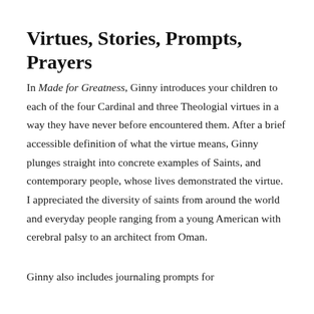Virtues, Stories, Prompts, Prayers
In Made for Greatness, Ginny introduces your children to each of the four Cardinal and three Theologial virtues in a way they have never before encountered them. After a brief accessible definition of what the virtue means, Ginny plunges straight into concrete examples of Saints, and contemporary people, whose lives demonstrated the virtue. I appreciated the diversity of saints from around the world and everyday people ranging from a young American with cerebral palsy to an architect from Oman.
Ginny also includes journaling prompts for